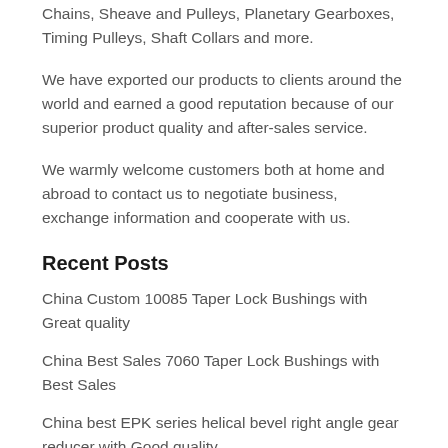Chains, Sheave and Pulleys, Planetary Gearboxes, Timing Pulleys, Shaft Collars and more.
We have exported our products to clients around the world and earned a good reputation because of our superior product quality and after-sales service.
We warmly welcome customers both at home and abroad to contact us to negotiate business, exchange information and cooperate with us.
Recent Posts
China Custom 10085 Taper Lock Bushings with Great quality
China Best Sales 7060 Taper Lock Bushings with Best Sales
China best EPK series helical bevel right angle gear reducer with Good quality
Precision Roller Chain